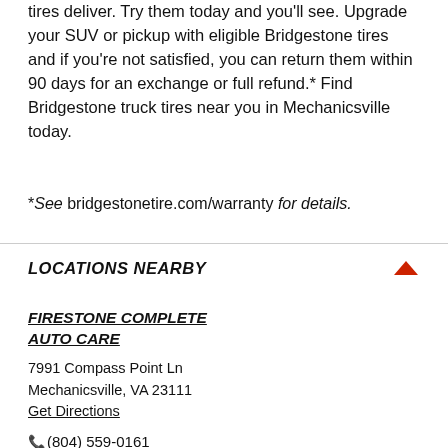tires deliver. Try them today and you'll see. Upgrade your SUV or pickup with eligible Bridgestone tires and if you're not satisfied, you can return them within 90 days for an exchange or full refund.* Find Bridgestone truck tires near you in Mechanicsville today.
*See bridgestonetire.com/warranty for details.
LOCATIONS NEARBY
FIRESTONE COMPLETE AUTO CARE
7991 Compass Point Ln
Mechanicsville, VA 23111
Get Directions
(804) 559-0161
Hours:
Sun: 9:00 am to 5:00 pm
Mon-Fri: 7:00 am to 7:00 pm